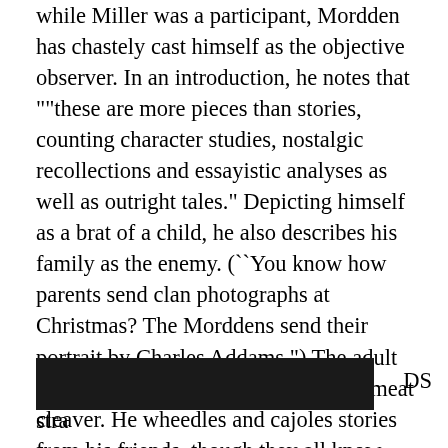while Miller was a participant, Mordden has chastely cast himself as the objective observer. In an introduction, he notes that ""these are more pieces than stories, counting character studies, nostalgic recollections and essayistic analyses as well as outright tales." Depicting himself as a brat of a child, he also describes his family as the enemy. (``You know how parents send clan photographs at Christmas? The Morddens send their portrait by Charles Addams.") The adult Mordden uses his writing skill like a meat cleaver. He wheedles and cajoles stories from his friends, though they all know that what they tell him goes straight into the typewriter. The gay community may receive this book with some acclaim, for it is a finely drawn portra[REDACTED]DS stra[REDACTED]